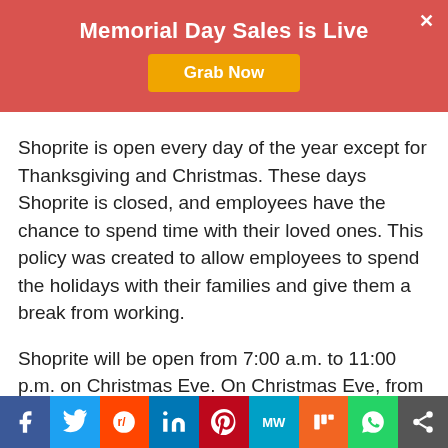Memorial Day Sales is Live
Grab Now
Shoprite is open every day of the year except for Thanksgiving and Christmas. These days Shoprite is closed, and employees have the chance to spend time with their loved ones. This policy was created to allow employees to spend the holidays with their families and give them a break from working.
Shoprite will be open from 7:00 a.m. to 11:00 p.m. on Christmas Eve. On Christmas Eve, from 7:00 a.m. to 11:00 p.m.
[Figure (infographic): Social sharing bar with icons: Facebook, Twitter, Reddit, LinkedIn, Pinterest, MW, Mix, WhatsApp, Share]